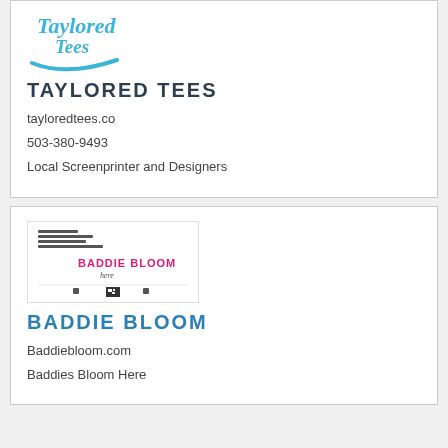[Figure (logo): Taylored Tees cursive logo in light blue with swoosh]
TAYLORED TEES
tayloredtees.co
503-380-9493
Local Screenprinter and Designers
[Figure (screenshot): Baddie Bloom business card preview showing contact info and pink logo text]
BADDIE BLOOM
Baddiebloom.com
Baddies Bloom Here